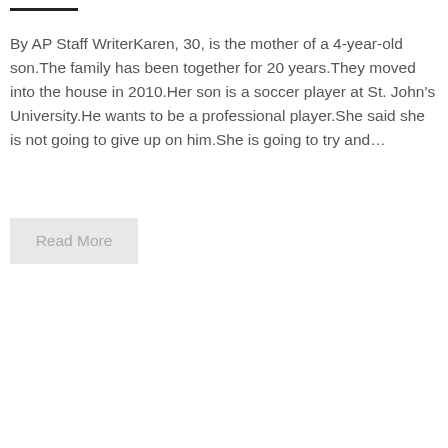By AP Staff WriterKaren, 30, is the mother of a 4-year-old son.The family has been together for 20 years.They moved into the house in 2010.Her son is a soccer player at St. John's University.He wants to be a professional player.She said she is not going to give up on him.She is going to try and…
Read More